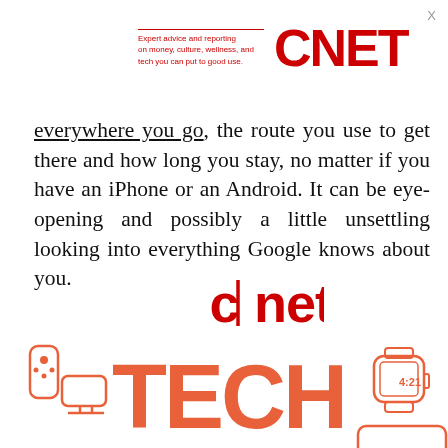Expert advice and reporting on money, culture, wellness, and tech you can put to good use. CNET
everywhere you go, the route you use to get there and how long you stay, no matter if you have an iPhone or an Android. It can be eye-opening and possibly a little unsettling looking into everything Google knows about you.
[Figure (logo): CNET logo in red with vertical bar between c and net, centered on page]
[Figure (illustration): TECH TIPS banner in large orange/red letters with device icons including Apple TV remote, smartwatch showing 4:21, and a tablet outline. TIPS text partially visible at bottom.]